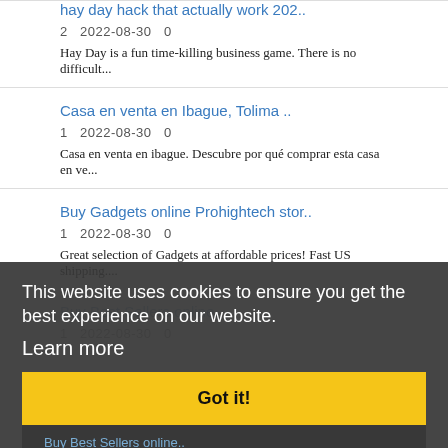hay day hack that actually work 202..
2   2022-08-30   0
Hay Day is a fun time-killing business game. There is no difficult...
Casa en venta en Ibague, Tolima ..
1   2022-08-30   0
Casa en venta en ibague. Descubre por qué comprar esta casa en ve...
Buy Gadgets online Prohightech stor..
1   2022-08-30   0
Great selection of Gadgets at affordable prices! Fast US shipping....
Buy Best Sellers online..
1   2022-08-30   0
This website uses cookies to ensure you get the best experience on our website.
Learn more
Got it!